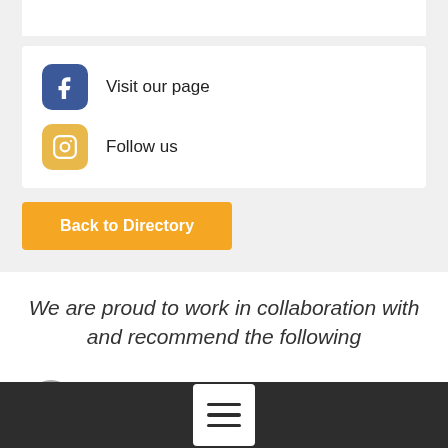[Figure (screenshot): White card with Facebook icon (blue rounded square with 'f') and text 'Visit our page', and Instagram icon (yellow/orange rounded square with camera outline) and text 'Follow us']
Visit our page
Follow us
Back to Directory
We are proud to work in collaboration with and recommend the following
[Figure (logo): IMDT logo in red bold letters with a small bird/animal silhouette]